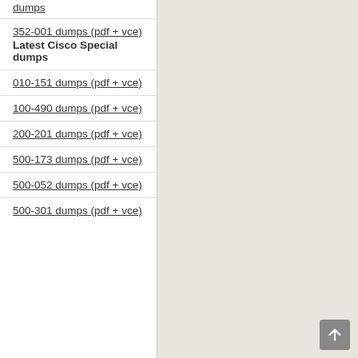dumps
352-001 dumps (pdf + vce)
Latest Cisco Special dumps
010-151 dumps (pdf + vce)
100-490 dumps (pdf + vce)
200-201 dumps (pdf + vce)
500-173 dumps (pdf + vce)
500-052 dumps (pdf + vce)
500-301 dumps (pdf + vce)